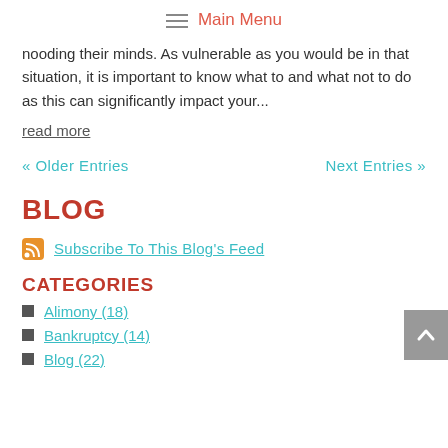Main Menu
nooding their minds. As vulnerable as you would be in that situation, it is important to know what to and what not to do as this can significantly impact your...
read more
« Older Entries   Next Entries »
BLOG
Subscribe To This Blog's Feed
CATEGORIES
Alimony (18)
Bankruptcy (14)
Blog (22)